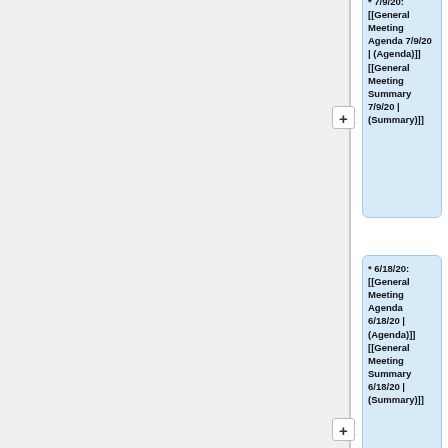* 7/9/20: [[General Meeting Agenda 7/9/20 | (Agenda)]] [[General Meeting Summary 7/9/20 | (Summary)]]
* 6/18/20: [[General Meeting Agenda 6/18/20 | (Agenda)]] [[General Meeting Summary 6/18/20 | (Summary)]]
* 6/11/20: [[General Meeting Agenda 6/11/20 | (Agenda)]] [[General Meeting Summary 6/11/20 | (Summary)]]
* 5/28/20: [[General Meeting Agenda 5/28/20 | ...